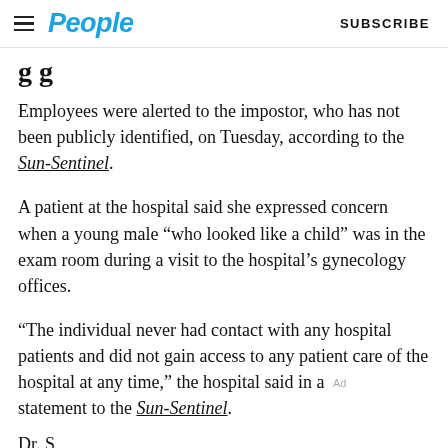People | SUBSCRIBE
g g
Employees were alerted to the impostor, who has not been publicly identified, on Tuesday, according to the Sun-Sentinel.
A patient at the hospital said she expressed concern when a young male “who looked like a child” was in the exam room during a visit to the hospital’s gynecology offices.
“The individual never had contact with any hospital patients and did not gain access to any patient care of the hospital at any time,” the hospital said in a statement to the Sun-Sentinel.
Dr. S... K... OB-GYN...